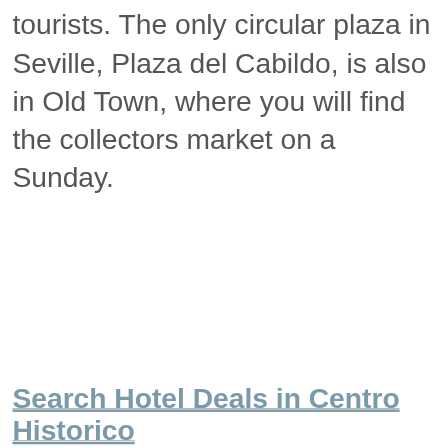tourists. The only circular plaza in Seville, Plaza del Cabildo, is also in Old Town, where you will find the collectors market on a Sunday.
Search Hotel Deals in Centro Historico
[Figure (map): A light gray map placeholder rectangle]